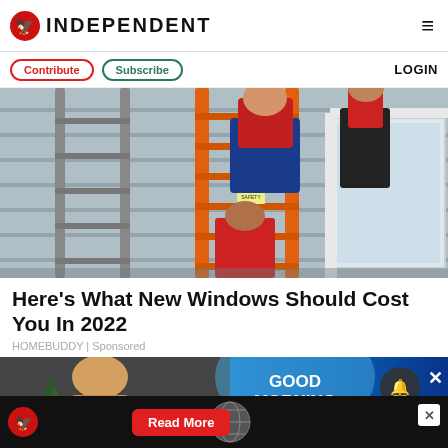INDEPENDENT
Contribute  Subscribe  LOGIN
[Figure (photo): People installing a window on a house exterior, with orange and grey ladders visible. Workers in red shirts and jeans working on siding installation.]
Here's What New Windows Should Cost You In 2022
HOMEBUDDY | Sponsored
[Figure (screenshot): Video thumbnail showing a woman with a Good Morning America lower-third graphic, with a notification bell button and close X button overlaid.]
[Figure (logo): Independent logo advertisement bar with Read More button at bottom of page.]